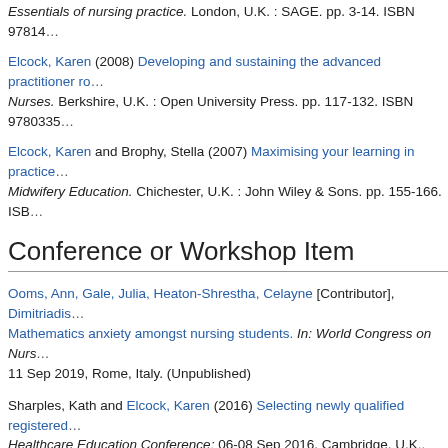Essentials of nursing practice. London, U.K. : SAGE. pp. 3-14. ISBN 97814...
Elcock, Karen (2008) Developing and sustaining the advanced practitioner ro... Nurses. Berkshire, U.K. : Open University Press. pp. 117-132. ISBN 9780335...
Elcock, Karen and Brophy, Stella (2007) Maximising your learning in practice... Midwifery Education. Chichester, U.K. : John Wiley & Sons. pp. 155-166. ISB...
Conference or Workshop Item
Ooms, Ann, Gale, Julia, Heaton-Shrestha, Celayne [Contributor], Dimitriadis... Mathematics anxiety amongst nursing students. In: World Congress on Nurs... 11 Sep 2019, Rome, Italy. (Unpublished)
Sharples, Kath and Elcock, Karen (2016) Selecting newly qualified registered... Healthcare Education Conference; 06-08 Sep 2016, Cambridge, U.K.. (Unpu...
Elcock, Karen (2015) 'Preceptorship' – your onward journey. In: London Nurs...
Elcock, Karen, Dray, Beattie, Perkins, Andrew, Christian, Sara, Burke, Linda... supporting them out. In: European Federation of Nurse Educators (FINE) wit... the Art and Facing the Challenges; 03-05 Oct 2012, Cardiff, U.K.. (Unpublish...
Elcock, Karen and Sookhoo, Dave (2007) The essence and experience of a...